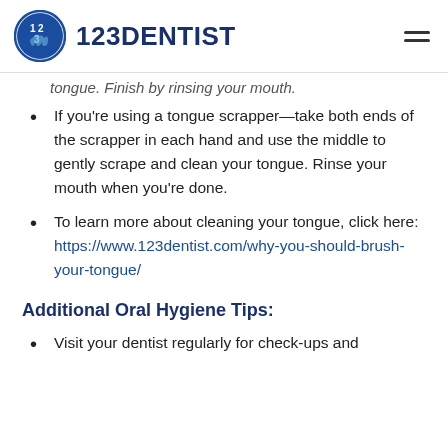123DENTIST
tongue. Finish by rinsing your mouth.
If you're using a tongue scrapper—take both ends of the scrapper in each hand and use the middle to gently scrape and clean your tongue. Rinse your mouth when you're done.
To learn more about cleaning your tongue, click here: https://www.123dentist.com/why-you-should-brush-your-tongue/
Additional Oral Hygiene Tips:
Visit your dentist regularly for check-ups and